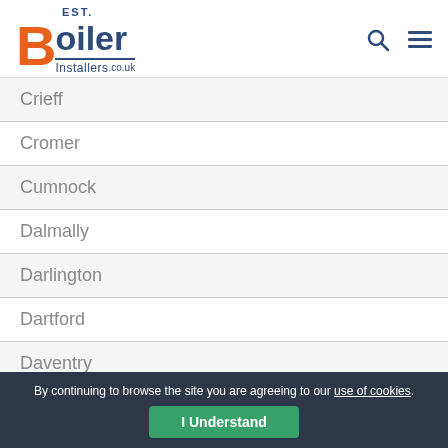[Figure (logo): Best Boiler Installers .co.uk logo with orange B and dark blue text]
Crieff
Cromer
Cumnock
Dalmally
Darlington
Dartford
Daventry
Derby
By continuing to browse the site you are agreeing to our use of cookies.
I Understand